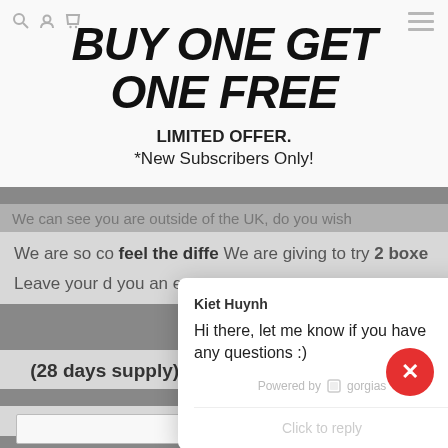BUY ONE GET ONE FREE
LIMITED OFFER. *New Subscribers Only!
We can see you are outside of the UK, do you wish
We are so co... feel the diffe... We are giving to try 2 boxe...
Leave your d... you an ema...
[Figure (screenshot): Chat popup from Kiet Huynh via Gorgias: 'Hi there, let me know if you have any questions :)' with 'Powered by gorgias' and 'Click to reply' input area]
(28 days supply) for the price of a single box.
Includes FREE shipping in the UK
[Figure (other): Red circular close button with white X icon in bottom-right]